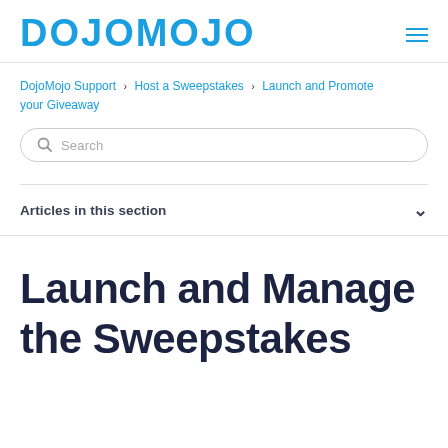DOJOMOJO
DojoMojo Support › Host a Sweepstakes › Launch and Promote your Giveaway
Search
Articles in this section
Launch and Manage the Sweepstakes